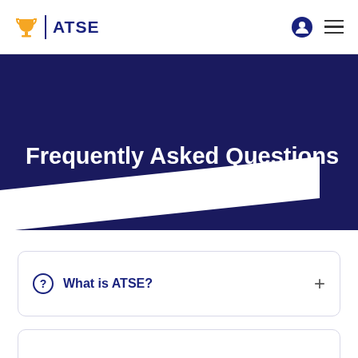ATSE
Frequently Asked Questions
What is ATSE?